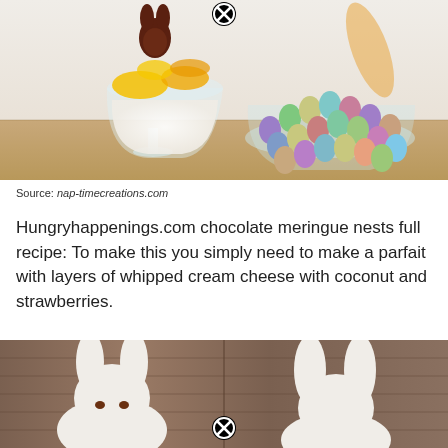[Figure (photo): A glass parfait bowl with white cream, yellow/orange mango pieces, and a chocolate bunny on top, alongside a bowl of colorful pastel candy eggs. A circular close/remove button icon overlays the image.]
Source: nap-timecreations.com
Hungryhappenings.com chocolate meringue nests full recipe: To make this you simply need to make a parfait with layers of whipped cream cheese with coconut and strawberries.
[Figure (photo): Two white bunny-shaped fabric or foam items photographed against a rustic wooden background. A circular close/remove button icon overlays the image.]